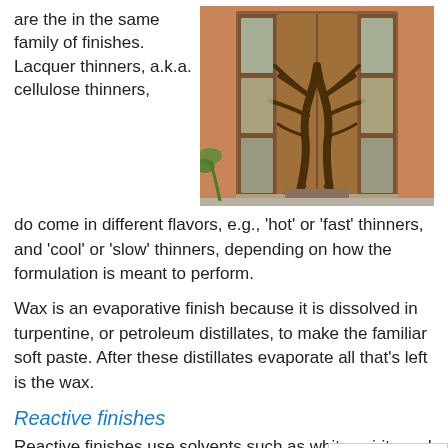are the in the same family of finishes. Lacquer thinners, a.k.a. cellulose thinners, do come in different flavors, e.g., 'hot' or 'fast' thinners, and 'cool' or 'slow' thinners, depending on how the formulation is meant to perform.
[Figure (photo): Ornate wooden double door with carved tree design featuring branches and roots, with glass panel sidelights, photographed from outside.]
Wax is an evaporative finish because it is dissolved in turpentine, or petroleum distillates, to make the familiar soft paste. After these distillates evaporate all that's left is the wax.
Reactive finishes
Reactive finishes use solvents such as white spirits and naphtha. Oil varnishes and linseed oil are rea...